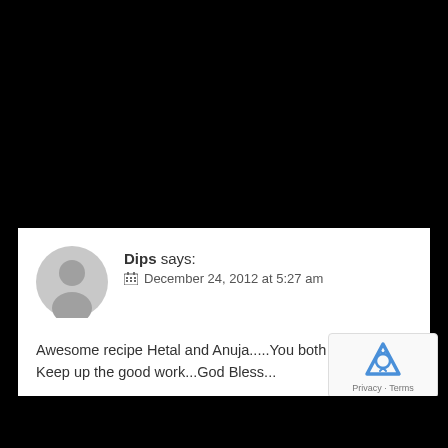Dips says: December 24, 2012 at 5:27 am
Awesome recipe Hetal and Anuja.....You both rock...!! Keep up the good work...God Bless...
Reply